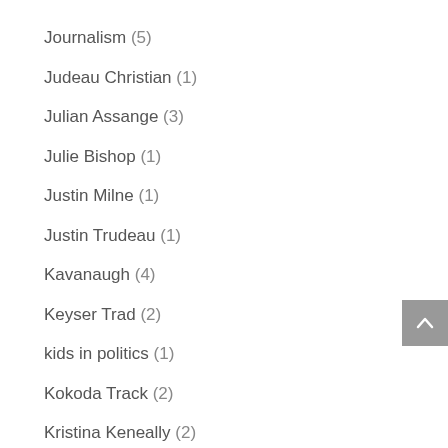Journalism (5)
Judeau Christian (1)
Julian Assange (3)
Julie Bishop (1)
Justin Milne (1)
Justin Trudeau (1)
Kavanaugh (4)
Keyser Trad (2)
kids in politics (1)
Kokoda Track (2)
Kristina Keneally (2)